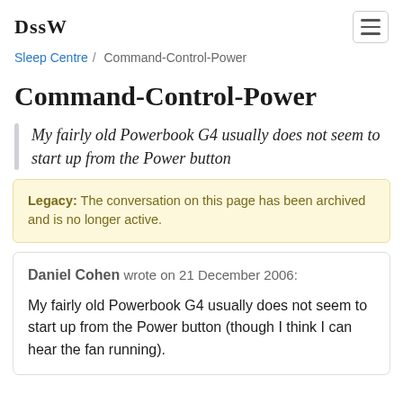DssW
Sleep Centre / Command-Control-Power
Command-Control-Power
My fairly old Powerbook G4 usually does not seem to start up from the Power button
Legacy: The conversation on this page has been archived and is no longer active.
Daniel Cohen wrote on 21 December 2006: My fairly old Powerbook G4 usually does not seem to start up from the Power button (though I think I can hear the fan running).